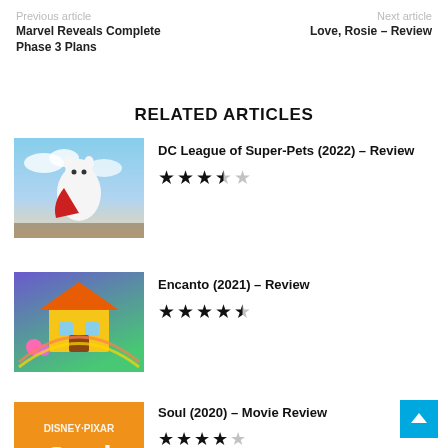Previous article | Next article
Marvel Reveals Complete Phase 3 Plans
Love, Rosie – Review
RELATED ARTICLES
[Figure (photo): DC League of Super-Pets movie poster thumbnail]
DC League of Super-Pets (2022) – Review ★★★½☆
[Figure (photo): Encanto movie poster thumbnail]
Encanto (2021) – Review ★★★★½
[Figure (photo): Soul movie poster thumbnail]
Soul (2020) – Movie Review ★★★★☆